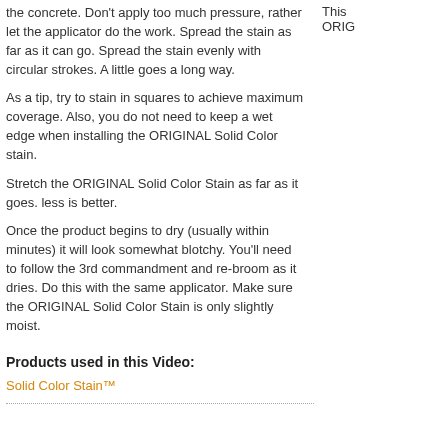the concrete. Don't apply too much pressure, rather let the applicator do the work. Spread the stain as far as it can go. Spread the stain evenly with circular strokes. A little goes a long way.
This ORIG
As a tip, try to stain in squares to achieve maximum coverage. Also, you do not need to keep a wet edge when installing the ORIGINAL Solid Color stain.
Stretch the ORIGINAL Solid Color Stain as far as it goes. less is better.
Once the product begins to dry (usually within minutes) it will look somewhat blotchy. You'll need to follow the 3rd commandment and re-broom as it dries. Do this with the same applicator. Make sure the ORIGINAL Solid Color Stain is only slightly moist.
Products used in this Video:
Solid Color Stain™